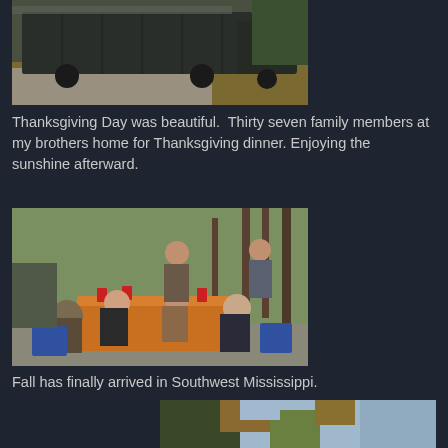[Figure (photo): A large dark truck or livestock trailer parked on a gravel/concrete pad outdoors with dry grass and trees in background]
Thanksgiving Day was beautiful.  Thirty seven family members at my brothers home for Thanksgiving dinner. Enjoying the sunshine afterward.
[Figure (photo): Family members sitting around an orange tablecloth-covered table outdoors, with red cups, trees and blue sky in background, two people standing nearby]
Fall has finally arrived in Southwest Mississippi.
[Figure (photo): Partial view of outdoor fall scene with trees and sky]